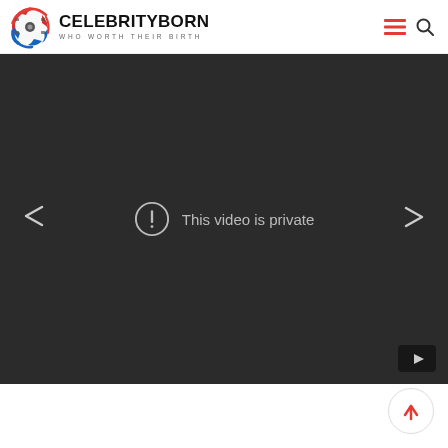CELEBRITYBORN — WHO WORTH THEIR BIRTH
[Figure (screenshot): Embedded video player showing 'This video is private' error message with navigation arrows on left and right, and a YouTube play button in the bottom-right corner. The player background is dark gray.]
[Figure (other): Circular scroll-to-top button with a red upward arrow, positioned bottom-right of the page.]